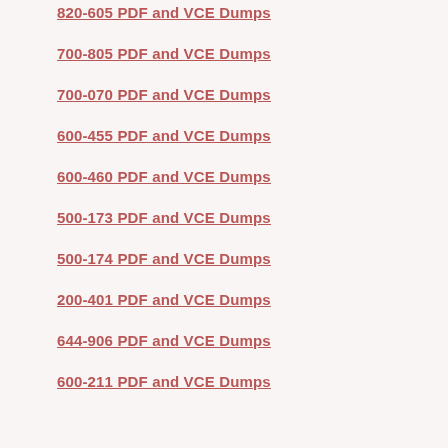820-605 PDF and VCE Dumps
700-805 PDF and VCE Dumps
700-070 PDF and VCE Dumps
600-455 PDF and VCE Dumps
600-460 PDF and VCE Dumps
500-173 PDF and VCE Dumps
500-174 PDF and VCE Dumps
200-401 PDF and VCE Dumps
644-906 PDF and VCE Dumps
600-211 PDF and VCE Dumps